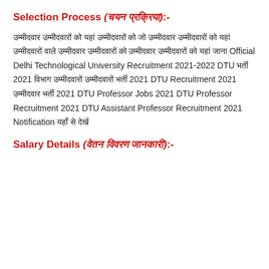Selection Process (चयन प्रक्रिया):-
उम्मीदवार उम्मीदवारों को यहां उम्मीदवारों को जो उम्मीदवार उम्मीदवारों को यहां उम्मीदवारों वाले उम्मीदवार उम्मीदवारों को उम्मीदवार उम्मीदवारों को यहां जाना Official Delhi Technological University Recruitment 2021-2022 DTU भर्ती 2021 विभाग उम्मीदवारों उम्मीदवारों भर्ती 2021 DTU Recruitment 2021 उम्मीदवार भर्ती 2021 DTU Professor Jobs 2021 DTU Professor Recruitment 2021 DTU Assistant Professor Recruitment 2021 Notification यहाँ से देखें
Salary Details (वेतन विवरण जानकारी):-